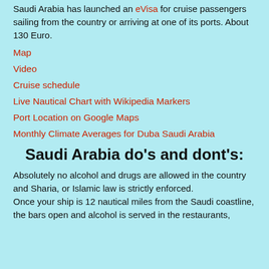Saudi Arabia has launched an eVisa for cruise passengers sailing from the country or arriving at one of its ports. About 130 Euro.
Map
Video
Cruise schedule
Live Nautical Chart with Wikipedia Markers
Port Location on Google Maps
Monthly Climate Averages for Duba Saudi Arabia
Saudi Arabia do's and dont's:
Absolutely no alcohol and drugs are allowed in the country and Sharia, or Islamic law is strictly enforced.
Once your ship is 12 nautical miles from the Saudi coastline, the bars open and alcohol is served in the restaurants,